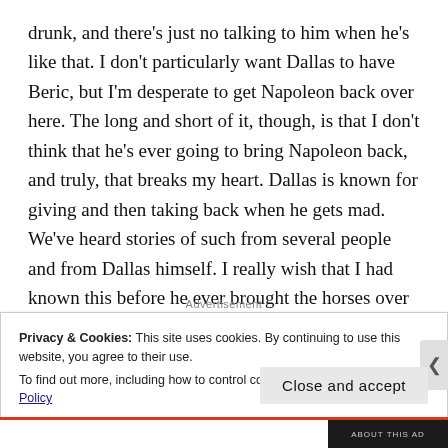drunk, and there's just no talking to him when he's like that. I don't particularly want Dallas to have Beric, but I'm desperate to get Napoleon back over here. The long and short of it, though, is that I don't think that he's ever going to bring Napoleon back, and truly, that breaks my heart. Dallas is known for giving and then taking back when he gets mad. We've heard stories of such from several people and from Dallas himself. I really wish that I had known this before he ever brought the horses over here, before I became too attached.
Privacy & Cookies: This site uses cookies. By continuing to use this website, you agree to their use.
To find out more, including how to control cookies, see here: Cookie Policy
Close and accept